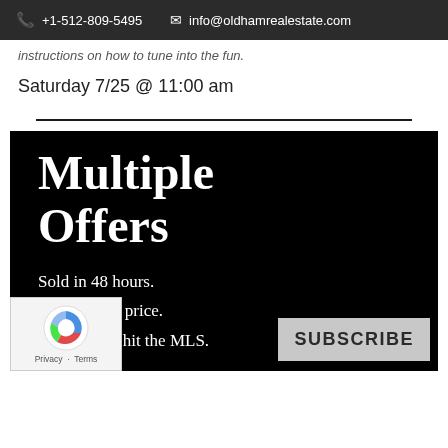+1-512-809-5495  info@oldhamrealestate.com
instructions on how to tune into the fun.
Saturday 7/25 @ 11:00 am
[Figure (infographic): Black background promo image with large white serif text reading 'Multiple Offers' followed by bullet lines: 'Sold in 48 hours.', 'Over asking price.', 'Didn’t even hit the MLS.' A reCAPTCHA badge is visible in the lower left corner and a SUBSCRIBE button in the lower right.]